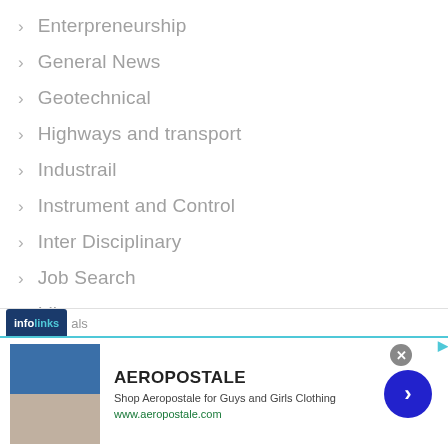Enterpreneurship
General News
Geotechnical
Highways and transport
Industrail
Instrument and Control
Inter Disciplinary
Job Search
Library
Marine
[Figure (screenshot): Infolinks ad bar with label 'infolinks' and partial text 'als', followed by an Aeropostale advertisement banner showing clothing images, brand name AEROPOSTALE, tagline 'Shop Aeropostale for Guys and Girls Clothing', URL www.aeropostale.com, a close button, navigation arrow, and Aeropostale logo area.]